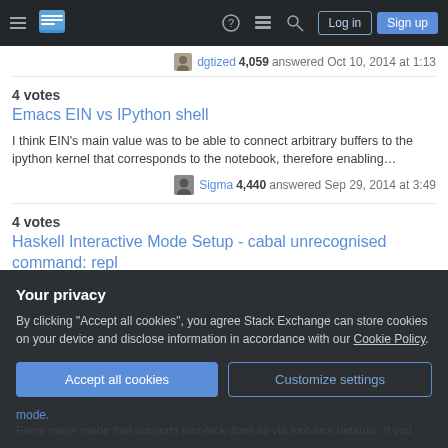Stack Exchange navigation bar with hamburger menu, logo, help, chat, search icons, Log in and Sign up buttons
dgtized 4,059 answered Oct 10, 2014 at 1:13
4 votes
Emacs EIN vs IPython shell
I think EIN's main value was to be able to connect arbitrary buffers to the ipython kernel that corresponds to the notebook, therefore enabling…
Sigma 4,440 answered Sep 29, 2014 at 3:49
4 votes
Haskell Interactive Mode Setup - cabal unrecognised command: repl
Your privacy
By clicking "Accept all cookies", you agree Stack Exchange can store cookies on your device and disclose information in accordance with our Cookie Policy.
Accept all cookies
Customize settings
mode.
Every major mode that supports font-lock does so via font-lock defaults. If you